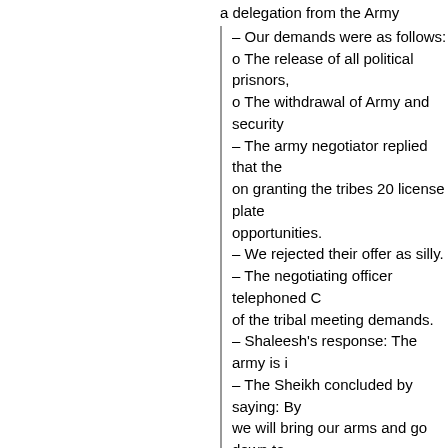a delegation from the Army
– Our demands were as follows:
o The release of all political prisnors,
o The withdrawal of Army and security
– The army negotiator replied that the on granting the tribes 20 license plate opportunities.
– We rejected their offer as silly.
– The negotiating officer telephoned C of the tribal meeting demands.
– Shaleesh's response: The army is i
– The Sheikh concluded by saying: By we will bring our arms and go down to
A religious tribal member:
– A religious prelude
– Jihad is part of the heritage of the Is
– Our Sunni brothers make up the ma the army.
– The regime are forcing our Sunni br Homsi's to Kill Deiri's and Hasakawi's
– We want peace. But if Jihad is force.
Sheikh conclusion remarks
– We welcome and respect the statem